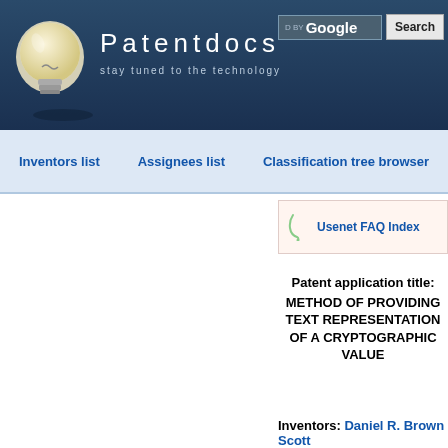Patentdocs — stay tuned to the technology
Inventors list   Assignees list   Classification tree browser
Usenet FAQ Index
Patent application title: METHOD OF PROVIDING TEXT REPRESENTATION OF A CRYPTOGRAPHIC VALUE
Inventors: Daniel R. Brown  Scott